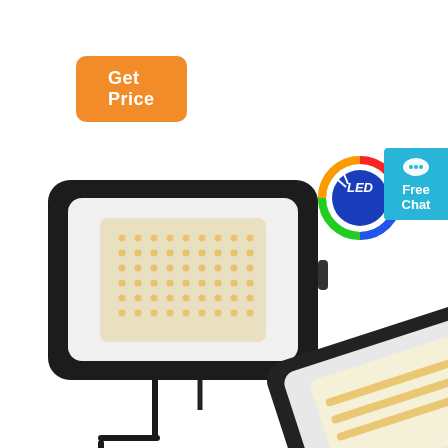[Figure (other): Orange 'Get Price' button in top left corner]
[Figure (photo): Two black LED flood lights shown: one front-facing with visible LED array and mounting bracket, one angled view from below/side. An LED logo badge with colorful rainbow ring is shown between the lights.]
[Figure (other): Cyan 'Free Chat' button with speech bubble icon on the right side]